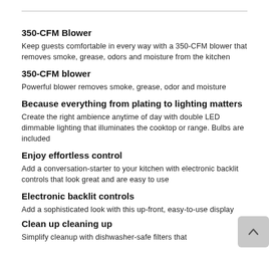350-CFM Blower
Keep guests comfortable in every way with a 350-CFM blower that removes smoke, grease, odors and moisture from the kitchen
350-CFM blower
Powerful blower removes smoke, grease, odor and moisture
Because everything from plating to lighting matters
Create the right ambience anytime of day with double LED dimmable lighting that illuminates the cooktop or range. Bulbs are included
Enjoy effortless control
Add a conversation-starter to your kitchen with electronic backlit controls that look great and are easy to use
Electronic backlit controls
Add a sophisticated look with this up-front, easy-to-use display
Clean up cleaning up
Simplify cleanup with dishwasher-safe filters that...